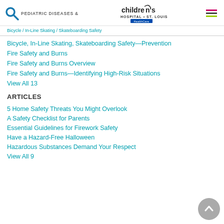PEDIATRIC DISEASES & CONDITIONS — Children's Hospital St. Louis
Bicycle / In-Line Skating / Skateboarding Safety
Bicycle, In-Line Skating, Skateboarding Safety—Prevention
Fire Safety and Burns
Fire Safety and Burns Overview
Fire Safety and Burns—Identifying High-Risk Situations
View All 13
ARTICLES
5 Home Safety Threats You Might Overlook
A Safety Checklist for Parents
Essential Guidelines for Firework Safety
Have a Hazard-Free Halloween
Hazardous Substances Demand Your Respect
View All 9